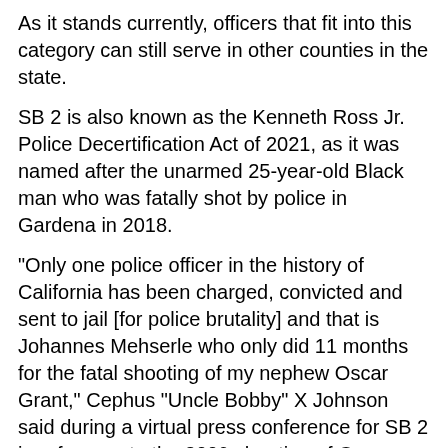As it stands currently, officers that fit into this category can still serve in other counties in the state.
SB 2 is also known as the Kenneth Ross Jr. Police Decertification Act of 2021, as it was named after the unarmed 25-year-old Black man who was fatally shot by police in Gardena in 2018.
“Only one police officer in the history of California has been charged, convicted and sent to jail [for police brutality] and that is Johannes Mehserle who only did 11 months for the fatal shooting of my nephew Oscar Grant,” Cephus “Uncle Bobby” X Johnson said during a virtual press conference for SB 2 in reference to the 2009 shooting of Oscar Grant III in Oakland.
Senator Steven Bradford, who introduced SB 2, noted that other professions are held to a certain standard and law enforcement shouldn’t be any different.
“If last summer’s nationwide protests and calls for police reform have shown us anything, it’s that Californians want more than just a superficial change,” Bradford said.